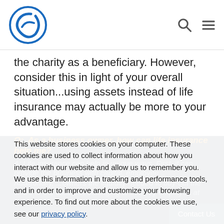[Logo] [Search icon] [Menu icon]
the charity as a beneficiary. However, consider this in light of your overall situation...using assets instead of life insurance may actually be more to your advantage.
Q:  As a business owner, how can life insurance help me?
A: Life insurance can help in unique ways. First, it can provide the business with capital, employee...Additionally, ...owners the liquidity needed to buy-out the share of the business belonging to that key employee at death.
This website stores cookies on your computer. These cookies are used to collect information about how you interact with our website and allow us to remember you. We use this information in tracking and performance tools, and in order to improve and customize your browsing experience. To find out more about the cookies we use, see our privacy policy.
Accept
Contact Us